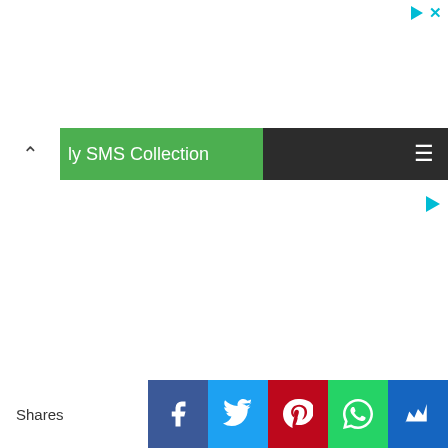[Figure (screenshot): Ad indicator with play icon and close X button in cyan/teal color at top right]
ly SMS Collection
[Figure (screenshot): Ad play button icon in cyan at right side middle area]
Shares
[Figure (screenshot): Social share buttons bar: Facebook, Twitter, Pinterest, WhatsApp, Bookmark]